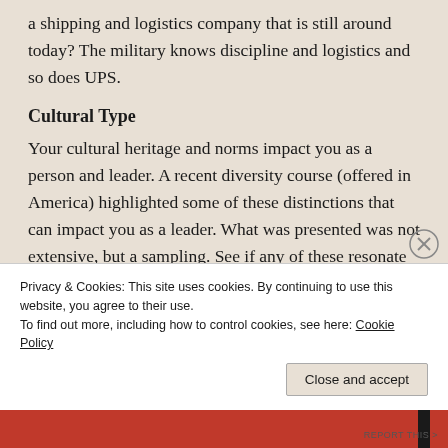a shipping and logistics company that is still around today? The military knows discipline and logistics and so does UPS.
Cultural Type
Your cultural heritage and norms impact you as a person and leader. A recent diversity course (offered in America) highlighted some of these distinctions that can impact you as a leader. What was presented was not extensive, but a sampling. See if any of these resonate with you:
Advertisements
Privacy & Cookies: This site uses cookies. By continuing to use this website, you agree to their use.
To find out more, including how to control cookies, see here: Cookie Policy